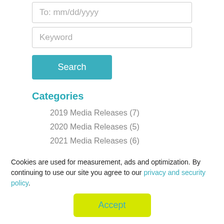To: mm/dd/yyyy
Keyword
Search
Categories
2019 Media Releases (7)
2020 Media Releases (5)
2021 Media Releases (6)
2022 Media Releases (6)
Latest Story Ideas (96)
Cookies are used for measurement, ads and optimization. By continuing to use our site you agree to our privacy and security policy.
Accept